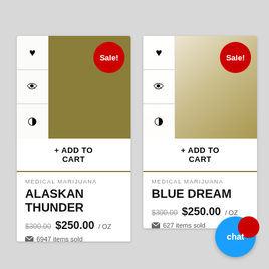[Figure (screenshot): Product card for Alaskan Thunder — olive/gold background with icon column (heart, eye, contrast), red Sale! badge, Add to Cart button]
MEDICAL MARIJUANA
ALASKAN THUNDER
$300.00  $250.00 / oz  6947 items sold
[Figure (screenshot): Product card for Blue Dream — cream/taupe background with icon column (heart, eye, contrast), red Sale! badge, Add to Cart button]
MEDICAL MARIJUANA
BLUE DREAM
$300.00  $250.00 / oz  627 items sold